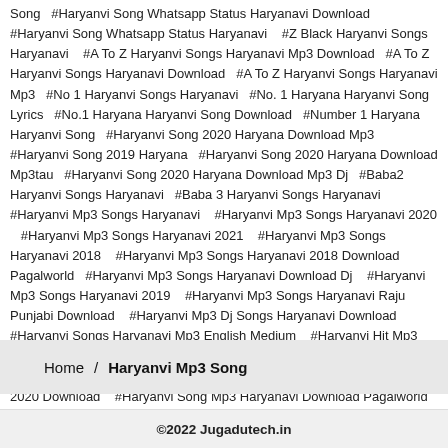Song  #Haryanvi Song Whatsapp Status Haryanavi Download  #Haryanvi Song Whatsapp Status Haryanavi   #Z Black Haryanvi Songs Haryanavi   #A To Z Haryanvi Songs Haryanavi Mp3 Download  #A To Z Haryanvi Songs Haryanavi Download  #A To Z Haryanvi Songs Haryanavi Mp3  #No 1 Haryanvi Songs Haryanavi  #No. 1 Haryana Haryanvi Song Lyrics  #No.1 Haryana Haryanvi Song Download  #Number 1 Haryana Haryanvi Song  #Haryanvi Song 2020 Haryana Download Mp3  #Haryanvi Song 2019 Haryana  #Haryanvi Song 2020 Haryana Download Mp3tau  #Haryanvi Song 2020 Haryana Download Mp3 Dj  #Baba2 Haryanvi Songs Haryanavi  #Baba 3 Haryanvi Songs Haryanavi  #Haryanvi Mp3 Songs Haryanavi  #Haryanvi Mp3 Songs Haryanavi 2020  #Haryanvi Mp3 Songs Haryanavi 2021  #Haryanvi Mp3 Songs Haryanavi 2018  #Haryanvi Mp3 Songs Haryanavi 2018 Download Pagalworld  #Haryanvi Mp3 Songs Haryanavi Download Dj  #Haryanvi Mp3 Songs Haryanavi 2019  #Haryanvi Mp3 Songs Haryanavi Raju Punjabi Download  #Haryanvi Mp3 Dj Songs Haryanavi Download  #Haryanvi Songs Haryanavi Mp3 English Medium  #Haryanvi Hit Mp3 Songs Haryanavi  #Haryanvi Holi Mp3 Songs Haryanavi  #Haryanvi Song Mp3 Haryanavi 2019 Download  #Haryanvi Song Mp3 Haryanavi 2020 Download  #Haryanvi Song Mp3 Haryanavi Download Pagalworld  #Haryanvi Songs Haryanavi In Mp3  #Dj Haryanvi Mp3 Songs Haryanavi Download  #Dj Haryanvi Mp3 Songs Haryanavi  #Dj Haryanvi Mp3 Songs Haryanavi 2019  #Haryanvi Songs Dj Mp3 Haryanavi 2018  #Haryanvi Latest Mp3 Songs Haryanavi 2019  #Haryanvi Latest Mp3 Songs Haryanavi 2018  #Haryanvi Ragni Haryanavi Mp3 Lakhmi Chand  #Haryanvi Songs Haryanavi Mp3 List  #All Haryanvi Mp3 Songs Ha
Home / Haryanvi Mp3 Song
©2022 Jugadutech.in